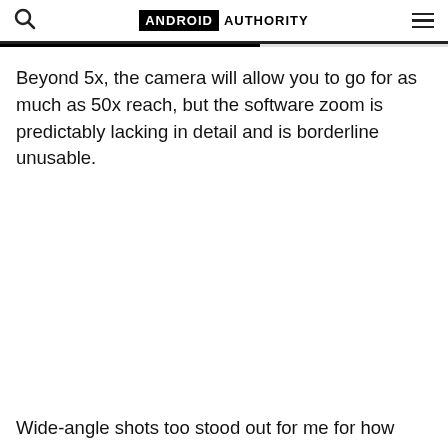ANDROID AUTHORITY
Beyond 5x, the camera will allow you to go for as much as 50x reach, but the software zoom is predictably lacking in detail and is borderline unusable.
Wide-angle shots too stood out for me for how